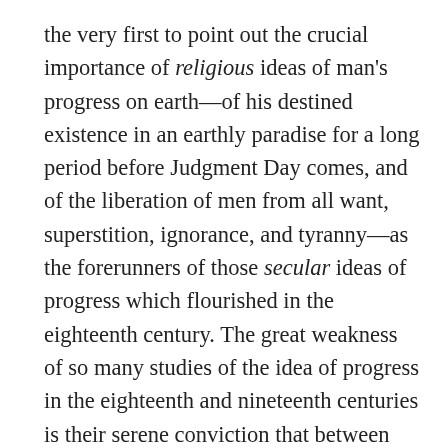the very first to point out the crucial importance of religious ideas of man's progress on earth—of his destined existence in an earthly paradise for a long period before Judgment Day comes, and of the liberation of men from all want, superstition, ignorance, and tyranny—as the forerunners of those secular ideas of progress which flourished in the eighteenth century. The great weakness of so many studies of the idea of progress in the eighteenth and nineteenth centuries is their serene conviction that between Christian prophecy and the kind of idea of progress we find in, say, Condorcet at the end of the eighteenth century, there is no affinity (in the sense of historical lineage), but...